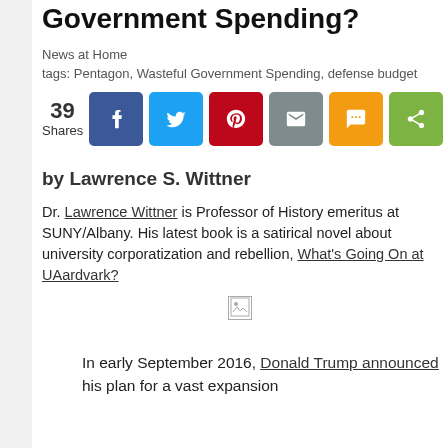Government Spending?
News at Home
tags: Pentagon, Wasteful Government Spending, defense budget
[Figure (infographic): Social share buttons row showing 39 Shares, with Facebook, Twitter, Pinterest, Email, SMS, and Share buttons]
by Lawrence S. Wittner
Dr. Lawrence Wittner is Professor of History emeritus at SUNY/Albany. His latest book is a satirical novel about university corporatization and rebellion, What's Going On at UAardvark?
[Figure (photo): Broken/loading image placeholder]
In early September 2016, Donald Trump announced his plan for a vast expansion